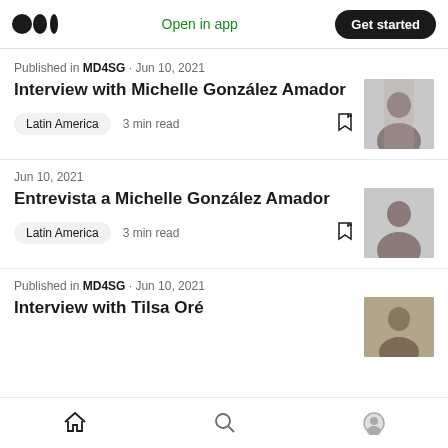Medium logo | Open in app | Get started
Published in MD4SG · Jun 10, 2021
Interview with Michelle González Amador
Latin America  3 min read
Jun 10, 2021
Entrevista a Michelle González Amador
Latin America  3 min read
Published in MD4SG · Jun 10, 2021
Interview with Tilsa Oré
Home  Search  Profile